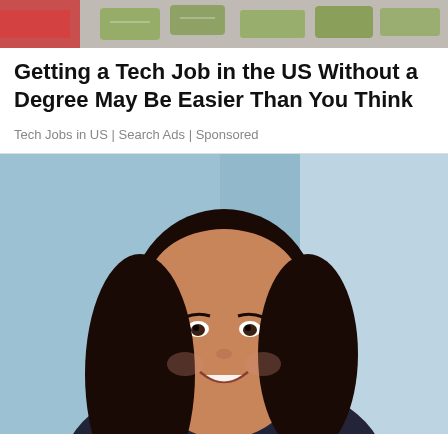[Figure (photo): Partial image at top of page showing money/dollar bills on a surface]
Getting a Tech Job in the US Without a Degree May Be Easier Than You Think
Tech Jobs in US | Search Ads | Sponsored
[Figure (photo): Professional headshot of a smiling young woman with long dark hair, wearing a dark blazer, against a blurred blue-grey office background]
People Who Took Zantac May Get Compensated - See Attorneys Near You